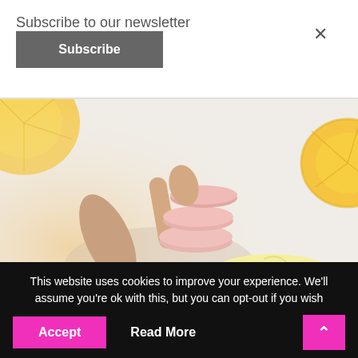Subscribe to our newsletter
Subscribe
[Figure (photo): Hand holding pink cosmetic tablets above an open jar of yellow cream, with citrus fruit slices in the background, on a white surface]
This website uses cookies to improve your experience. We'll assume you're ok with this, but you can opt-out if you wish
Accept
Read More